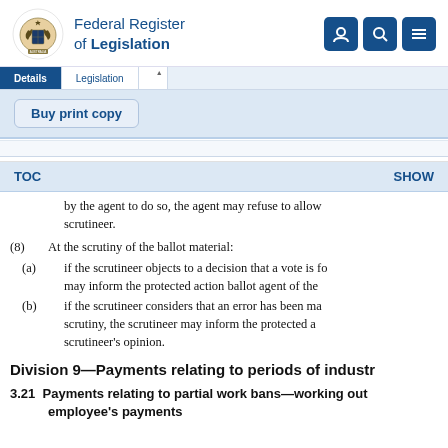Federal Register of Legislation
by the agent to do so, the agent may refuse to allow scrutineer.
(8)  At the scrutiny of the ballot material:
(a)  if the scrutineer objects to a decision that a vote is fo may inform the protected action ballot agent of the
(b)  if the scrutineer considers that an error has been ma scrutiny, the scrutineer may inform the protected a scrutineer's opinion.
Division 9—Payments relating to periods of industr
3.21  Payments relating to partial work bans—working out employee's payments